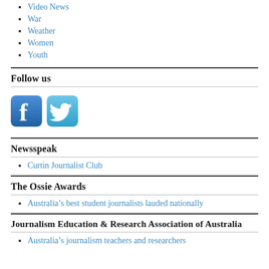Video News
War
Weather
Women
Youth
Follow us
[Figure (logo): Facebook and Twitter social media icons]
Newsspeak
Curtin Journalist Club
The Ossie Awards
Australia’s best student journalists lauded nationally
Journalism Education & Research Association of Australia
Australia’s journalism teachers and researchers